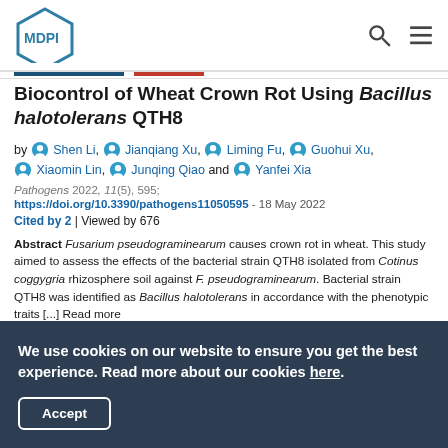MDPI
Biocontrol of Wheat Crown Rot Using Bacillus halotolerans QTH8
by Shen Li, Jianqiang Xu, Liming Fu, Guohui Xu, Xiaomin Lin, Junqing Qiao and Yanfei Xia
Pathogens 2022, 11(5), 595; https://doi.org/10.3390/pathogens11050595 - 18 May 2022
Cited by 2 | Viewed by 676
Abstract Fusarium pseudograminearum causes crown rot in wheat. This study aimed to assess the effects of the bacterial strain QTH8 isolated from Cotinus coggygria rhizosphere soil against F. pseudograminearum. Bacterial strain QTH8 was identified as Bacillus halotolerans in accordance with the phenotypic traits [...] Read more
We use cookies on our website to ensure you get the best experience. Read more about our cookies here.
Accept